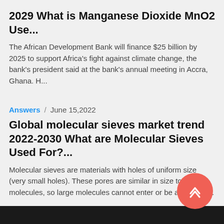2029 What is Manganese Dioxide MnO2 Use...
The African Development Bank will finance $25 billion by 2025 to support Africa's fight against climate change, the bank's president said at the bank's annual meeting in Accra, Ghana. H...
Answers / June 15,2022
Global molecular sieves market trend 2022-2030 What are Molecular Sieves Used For?...
Molecular sieves are materials with holes of uniform size (very small holes). These pores are similar in size to small molecules, so large molecules cannot enter or be adsorbed,...